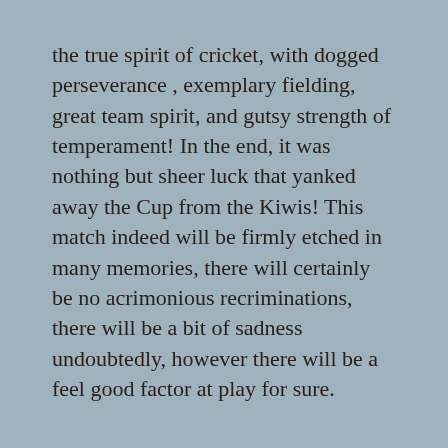the true spirit of cricket, with dogged perseverance , exemplary fielding, great team spirit, and gutsy strength of temperament! In the end, it was nothing but sheer luck that yanked away the Cup from the Kiwis! This match indeed will be firmly etched in many memories, there will certainly be no acrimonious recriminations, there will be a bit of sadness undoubtedly, however there will be a feel good factor at play for sure.
Two evenly balanced teams, highly professional in their approach, skilled in their strategem, joisting for the Cup in the hallowed grounds of cricket, in an